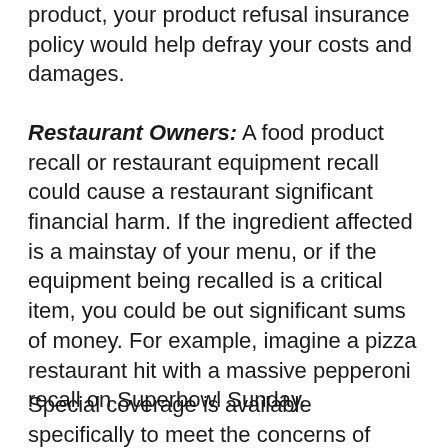product, your product refusal insurance policy would help defray your costs and damages.
Restaurant Owners: A food product recall or restaurant equipment recall could cause a restaurant significant financial harm. If the ingredient affected is a mainstay of your menu, or if the equipment being recalled is a critical item, you could be out significant sums of money. For example, imagine a pizza restaurant hit with a massive pepperoni recall on Superbowl Sunday.
Special coverage is available specifically to meet the concerns of